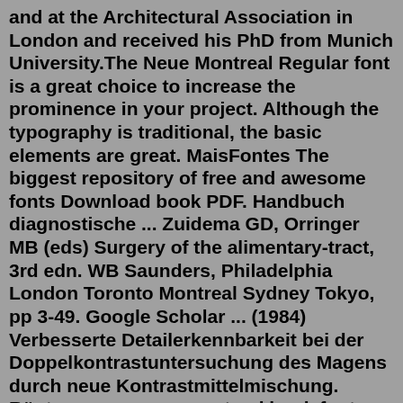and at the Architectural Association in London and received his PhD from Munich University.The Neue Montreal Regular font is a great choice to increase the prominence in your project. Although the typography is traditional, the basic elements are great. MaisFontes The biggest repository of free and awesome fonts Download book PDF. Handbuch diagnostische ... Zuidema GD, Orringer MB (eds) Surgery of the alimentary-tract, 3rd edn. WB Saunders, Philadelphia London Toronto Montreal Sydney Tokyo, pp 3-49. Google Scholar ... (1984) Verbesserte Detailerkennbarkeit bei der Doppelkontrastuntersuchung des Magens durch neue Kontrastmittelmischung. Röntgen ...pp neue montreal book font search results,FontKe for you to share pp neue montreal book resources,provide font download,font upload,font identification,font conversion,font preview,font generation,font design sample,font information and other services. Electrifying Good Looks. Express your sense of style with a RAV4 Hybrid that fits you best. From a